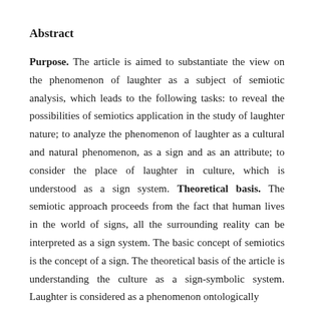Abstract
Purpose. The article is aimed to substantiate the view on the phenomenon of laughter as a subject of semiotic analysis, which leads to the following tasks: to reveal the possibilities of semiotics application in the study of laughter nature; to analyze the phenomenon of laughter as a cultural and natural phenomenon, as a sign and as an attribute; to consider the place of laughter in culture, which is understood as a sign system. Theoretical basis. The semiotic approach proceeds from the fact that human lives in the world of signs, all the surrounding reality can be interpreted as a sign system. The basic concept of semiotics is the concept of a sign. The theoretical basis of the article is understanding the culture as a sign-symbolic system. Laughter is considered as a phenomenon ontologically